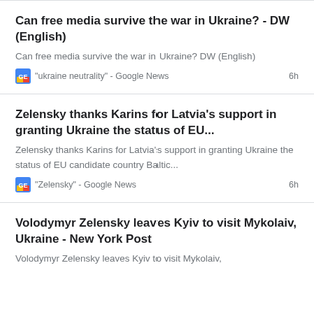Can free media survive the war in Ukraine? - DW (English)
Can free media survive the war in Ukraine?  DW (English)
"ukraine neutrality" - Google News   6h
Zelensky thanks Karins for Latvia's support in granting Ukraine the status of EU...
Zelensky thanks Karins for Latvia's support in granting Ukraine the status of EU candidate country  Baltic...
"Zelensky" - Google News   6h
Volodymyr Zelensky leaves Kyiv to visit Mykolaiv, Ukraine - New York Post
Volodymyr Zelensky leaves Kyiv to visit Mykolaiv,